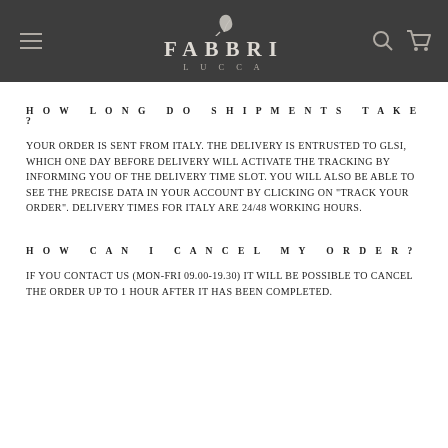FABBRI LUCCA
HOW LONG DO SHIPMENTS TAKE?
Your order is sent from Italy. The delivery is entrusted to GLSi, which one day before delivery will activate the tracking by informing you of the delivery time slot. You will also be able to see the precise data in your account by clicking on "Track your order". Delivery times for Italy are 24/48 working hours.
HOW CAN I CANCEL MY ORDER?
If you contact us (Mon-Fri 09.00-19.30) it will be possible to cancel the order up to 1 hour after it has been completed.